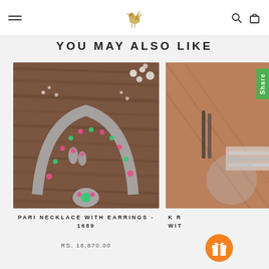Menu | Desi By Nivi logo | Search | Bag
YOU MAY ALSO LIKE
[Figure (photo): Silver oxidized peacock necklace set with pink and green stones, with matching earrings, displayed on a dark wooden surface with white flowers]
PARI NECKLACE WITH EARRINGS - 1689
RS. 18,870.00
[Figure (photo): Partially visible product photo showing jewelry on a brown fabric background, with a green Share button overlay and an orange circular gift icon]
K R
WIT